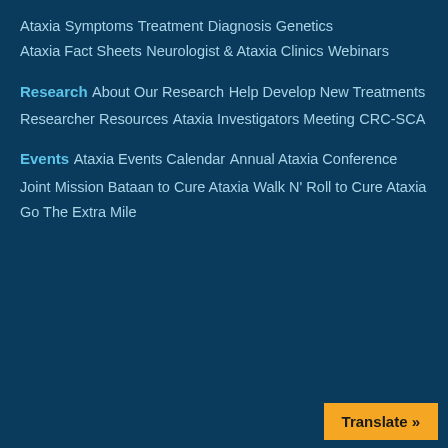Ataxia
Symptoms
Treatment
Diagnosis
Genetics
Ataxia Fact Sheets
Neurologist & Ataxia Clinics
Webinars
Research
About Our Research
Help Develop New Treatments
Researcher Resources
Ataxia Investigators Meeting
CRC-SCA
Events
Ataxia Events Calendar
Annual Ataxia Conference
Joint Mission Bataan to Cure Ataxia
Walk N' Roll to Cure Ataxia
Go The Extra Mile
Translate »